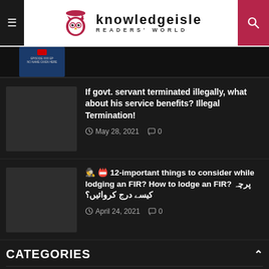knowledgeisle READERS' WORLD
[Figure (screenshot): Thumbnail strip with dark image and YouTube video preview]
If govt. servant terminated illegally, what about his service benefits? Illegal Termination!
May 28, 2021   0
🕵️📛12-important things to consider while lodging an FIR? How to lodge an FIR? پرچہ کیسے درج کروائیں؟
April 24, 2021   0
CATEGORIES
Music (3,240)